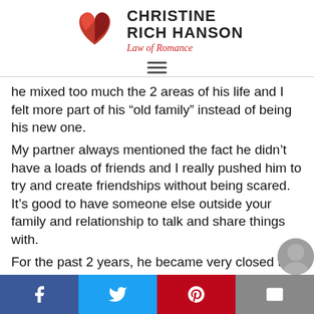[Figure (logo): Christine Rich Hanson Law of Romance logo with red heart/arrow graphic and text]
he mixed too much the 2 areas of his life and I felt more part of his “old family” instead of being his new one.
My partner always mentioned the fact he didn’t have a loads of friends and I really pushed him to try and create friendships without being scared. It’s good to have someone else outside your family and relationship to talk and share things with.
For the past 2 years, he became very closed to people he works with and I was so happy for him
[Figure (infographic): Social sharing footer bar with Facebook, Twitter, Pinterest, and email icons]